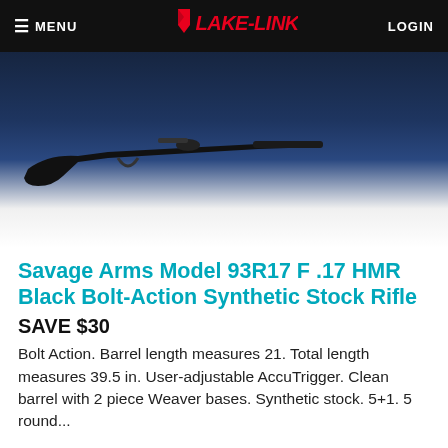MENU | LAKE-LINK | LOGIN
[Figure (photo): Product photo of Savage Arms Model 93R17 F .17 HMR Black Bolt-Action Synthetic Stock Rifle against a dark blue background]
Savage Arms Model 93R17 F .17 HMR Black Bolt-Action Synthetic Stock Rifle
SAVE $30
Bolt Action. Barrel length measures 21. Total length measures 39.5 in. User-adjustable AccuTrigger. Clean barrel with 2 piece Weaver bases. Synthetic stock. 5+1. 5 round...